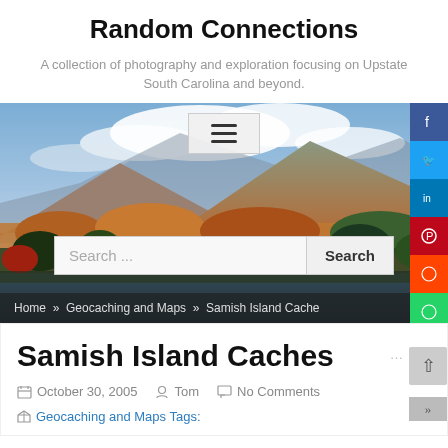Random Connections
A collection of photography and exploration focusing on Upstate South Carolina and beyond.
[Figure (screenshot): Hero banner photo of a mountain landscape with autumn foliage, clouds in sky, and a lake in foreground. Includes a hamburger menu button, search bar, and social media share buttons on the right side. Breadcrumb navigation at the bottom: Home » Geocaching and Maps » Samish Island Cache]
Samish Island Caches
October 30, 2005   Tom   No Comments
Geocaching and Maps Tags: